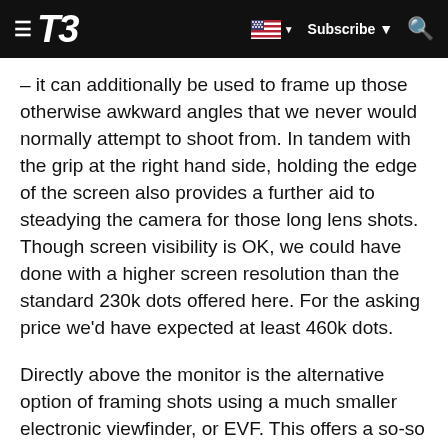T3 — Subscribe
– it can additionally be used to frame up those otherwise awkward angles that we never would normally attempt to shoot from. In tandem with the grip at the right hand side, holding the edge of the screen also provides a further aid to steadying the camera for those long lens shots. Though screen visibility is OK, we could have done with a higher screen resolution than the standard 230k dots offered here. For the asking price we'd have expected at least 460k dots.
Directly above the monitor is the alternative option of framing shots using a much smaller electronic viewfinder, or EVF. This offers a so-so 202k dot resolution so is easily overlooked, especially as there's no dedicated button for activating it nor is there an eye sensor that switches it on